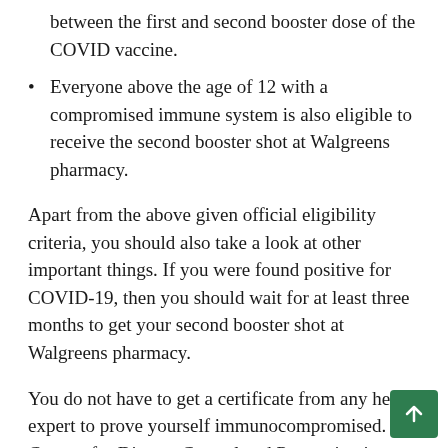between the first and second booster dose of the COVID vaccine.
Everyone above the age of 12 with a compromised immune system is also eligible to receive the second booster shot at Walgreens pharmacy.
Apart from the above given official eligibility criteria, you should also take a look at other important things. If you were found positive for COVID-19, then you should wait for at least three months to get your second booster shot at Walgreens pharmacy.
You do not have to get a certificate from any health expert to prove yourself immunocompromised. Centers for Disease Control and Prevention is flexible enough to accept self-declared immune-compromised documents.